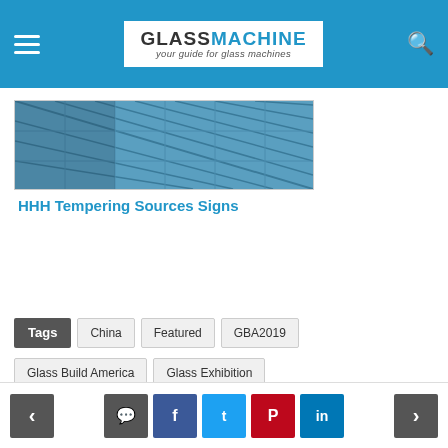GLASSMACHINE — your guide for glass machines
[Figure (photo): Glass building facade with diamond-pattern blue glass panels]
HHH Tempering Sources Signs
Tags | China | Featured | GBA2019
Glass Build America | Glass Exhibition
Glass Processing | Glass Tempering Furnace
HHH Tempering | north glass | USA
[Figure (infographic): Social share buttons: Facebook, Twitter, Pinterest, LinkedIn]
You may also like
Navigation: previous, comment, share (Facebook, Twitter, Pinterest, LinkedIn), next